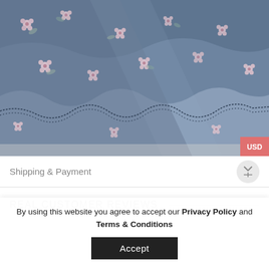[Figure (photo): Close-up photo of a blue floral patterned fabric/skirt with ruffled layers, pink and white flowers on denim-like fabric with decorative stitching along the hem.]
Shipping & Payment
REAL CUSTOMER REVIEWS
By using this website you agree to accept our Privacy Policy and Terms & Conditions
Accept